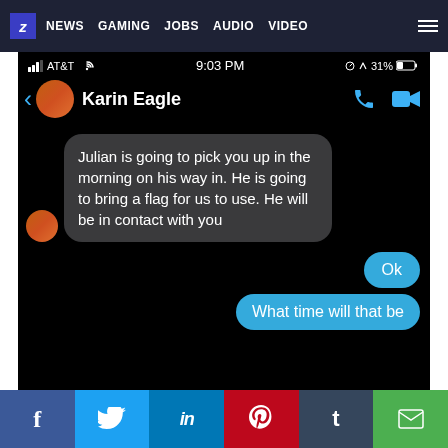Z NEWS GAMING JOBS AUDIO VIDEO
[Figure (screenshot): Mobile messaging app screenshot showing conversation with Karin Eagle. Status bar shows AT&T, 9:03 PM, 31% battery. Incoming message in dark bubble: 'Julian is going to pick you up in the morning on his way in. He is going to bring a flag for us to use. He will be in contact with you'. Outgoing messages in blue bubbles: 'Ok' and 'What time will that be']
f  Twitter  in  Pinterest  t  Email